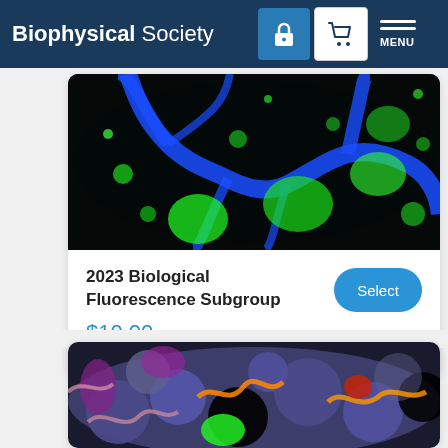Biophysical Society
[Figure (photo): Fluorescence microscopy image showing blue branching vessel structures on black background with green fluorescent spots/clusters]
2023 Biological Fluorescence Subgroup
$10.00
[Figure (photo): Colorful molecular visualization showing densely packed protein structures in blue/purple tones with orange, green, red, and pink accents on dark background]